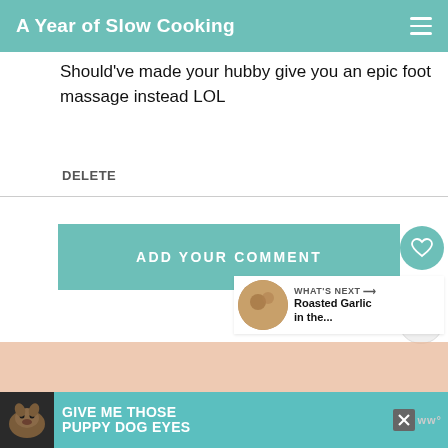A Year of Slow Cooking
Should've made your hubby give you an epic foot massage instead LOL
DELETE
ADD YOUR COMMENT
2
WHAT'S NEXT → Roasted Garlic in the...
[Figure (infographic): Advertisement banner: Give me those puppy dog eyes]
GIVE ME THOSE PUPPY DOG EYES